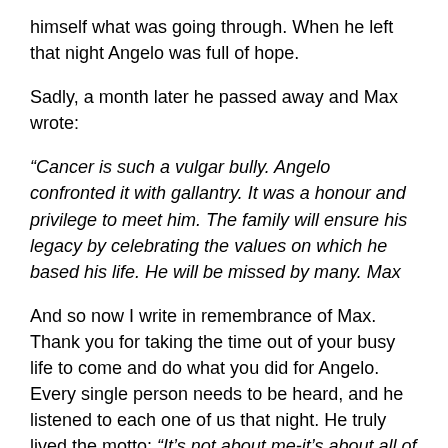himself what was going through. When he left that night Angelo was full of hope.
Sadly, a month later he passed away and Max wrote:
“Cancer is such a vulgar bully. Angelo confronted it with gallantry. It was a honour and privilege to meet him. The family will ensure his legacy by celebrating the values on which he based his life. He will be missed by many. Max
And so now I write in remembrance of Max. Thank you for taking the time out of your busy life to come and do what you did for Angelo. Every single person needs to be heard, and he listened to each one of us that night. He truly lived the motto: “It’s not about me-it’s about all of us.” That night Max told me he still got up every morning and danced. I know in my heart Max is still dancing with his feet–but he is also still dancing with that big heart that he had for